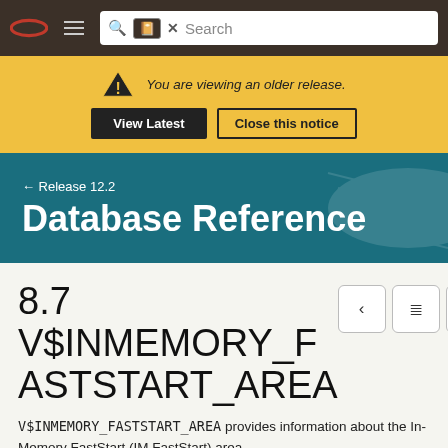Oracle Database Reference — Navigation bar with logo, menu, and search
You are viewing an older release.
View Latest | Close this notice
Database Reference
← Release 12.2
8.7 V$INMEMORY_FASTSTART_AREA
V$INMEMORY_FASTSTART_AREA provides information about the In-Memory FastStart (IM FastStart) area